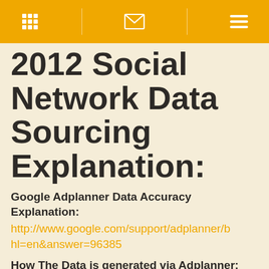[navigation bar with grid, mail, and menu icons]
2012 Social Network Data Sourcing Explanation:
Google Adplanner Data Accuracy Explanation:
http://www.google.com/support/adplanner/b... hl=en&answer=96385
How The Data is generated via Adplanner:
http://www.google.com/support/adplanner/b... hl=en&answer=98132